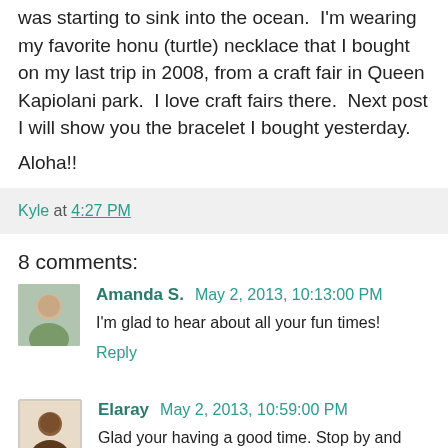was starting to sink into the ocean.  I'm wearing my favorite honu (turtle) necklace that I bought on my last trip in 2008, from a craft fair in Queen Kapiolani park.  I love craft fairs there.  Next post I will show you the bracelet I bought yesterday.
Aloha!!
Kyle at 4:27 PM
8 comments:
Amanda S. May 2, 2013, 10:13:00 PM
I'm glad to hear about all your fun times!
Reply
Elaray May 2, 2013, 10:59:00 PM
Glad your having a good time. Stop by and see my cousin Down in Honolulu :-)